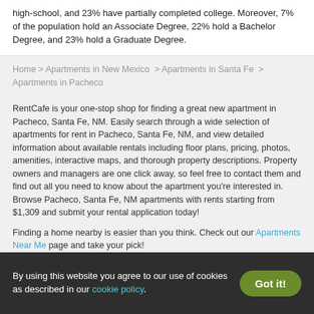high-school, and 23% have partially completed college. Moreover, 7% of the population hold an Associate Degree, 22% hold a Bachelor Degree, and 23% hold a Graduate Degree.
Home > Apartments in New Mexico > Apartments in Santa Fe > Apartments in Pacheco
RentCafe is your one-stop shop for finding a great new apartment in Pacheco, Santa Fe, NM. Easily search through a wide selection of apartments for rent in Pacheco, Santa Fe, NM, and view detailed information about available rentals including floor plans, pricing, photos, amenities, interactive maps, and thorough property descriptions. Property owners and managers are one click away, so feel free to contact them and find out all you need to know about the apartment you're interested in. Browse Pacheco, Santa Fe, NM apartments with rents starting from $1,309 and submit your rental application today!
Finding a home nearby is easier than you think. Check out our Apartments Near Me page and take your pick!
By using this website you agree to our use of cookies as described in our cookie policy.